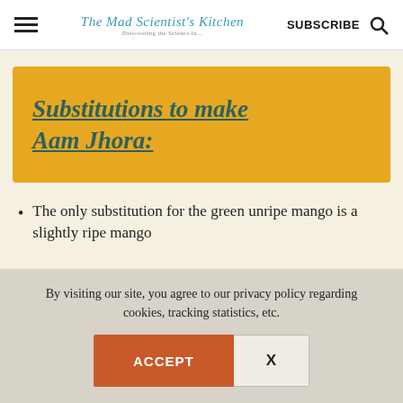The Mad Scientist's Kitchen | SUBSCRIBE
Substitutions to make Aam Jhora:
The only substitution for the green unripe mango is a slightly ripe mango
By visiting our site, you agree to our privacy policy regarding cookies, tracking statistics, etc.